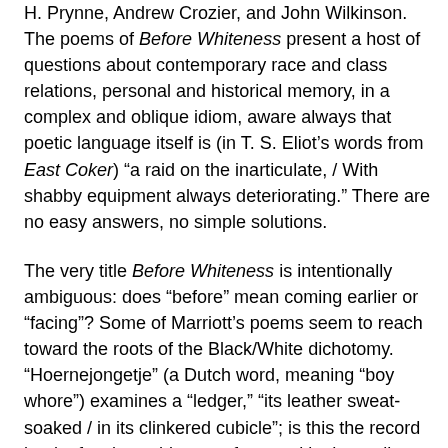H. Prynne, Andrew Crozier, and John Wilkinson. The poems of Before Whiteness present a host of questions about contemporary race and class relations, personal and historical memory, in a complex and oblique idiom, aware always that poetic language itself is (in T. S. Eliot's words from East Coker) "a raid on the inarticulate, / With shabby equipment always deteriorating." There are no easy answers, no simple solutions.
The very title Before Whiteness is intentionally ambiguous: does “before” mean coming earlier or “facing”? Some of Marriott’s poems seem to reach toward the roots of the Black/White dichotomy. “Hoernejongetje” (a Dutch word, meaning “boy whore”) examines a “ledger,” “its leather sweat-soaked / in its clinkered cubicle”; is this the record book of a slave ship, as referenced in the earlier poem “The Dream, Called Lubek”?